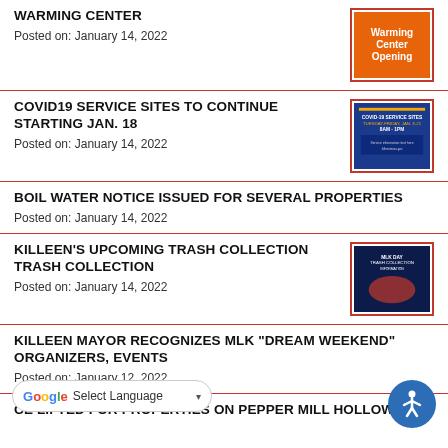WARMING CENTER
Posted on: January 14, 2022
COVID19 SERVICE SITES TO CONTINUE STARTING JAN. 18
Posted on: January 14, 2022
BOIL WATER NOTICE ISSUED FOR SEVERAL PROPERTIES
Posted on: January 14, 2022
KILLEEN'S UPCOMING TRASH COLLECTION TRASH COLLECTION
Posted on: January 14, 2022
KILLEEN MAYOR RECOGNIZES MLK “DREAM WEEKEND” ORGANIZERS, EVENTS
Posted on: January 12, 2022
CE LIFTED FOR PROPERTIES ON PEPPER MILL HOLLOW